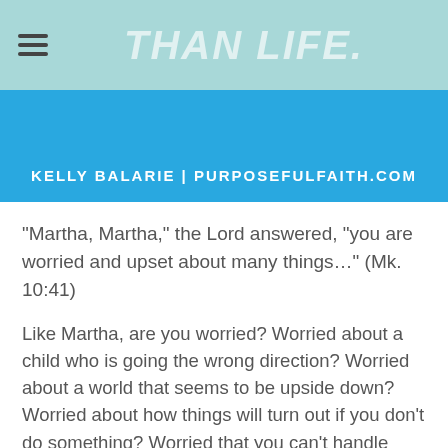THAN LIFE.
KELLY BALARIE | PURPOSEFULFAITH.COM
“Martha, Martha,” the Lord answered, “you are worried and upset about many things…” (Mk. 10:41)
Like Martha, are you worried? Worried about a child who is going the wrong direction? Worried about a world that seems to be upside down? Worried about how things will turn out if you don't do something? Worried that you can't handle what lays ahead?"
Worry pretends to be working out a better end. But, all it